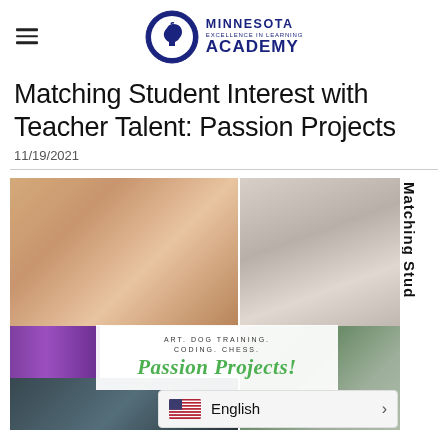Minnesota Excellence in Learning Academy
Matching Student Interest with Teacher Talent: Passion Projects
11/19/2021
[Figure (photo): Collage of four photos showing students engaged in passion projects: a girl drawing/doing art, a person doing dog training, a student coding at a computer, and students playing chess. Center overlay reads 'ART. DOG TRAINING. CODING. CHESS. Passion Projects!']
English